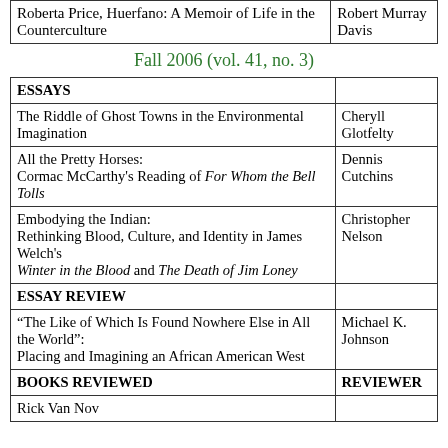|  |  |
| --- | --- |
| Roberta Price, Huerfano: A Memoir of Life in the Counterculture | Robert Murray Davis |
Fall 2006 (vol. 41, no. 3)
| ESSAYS |  |
| --- | --- |
| The Riddle of Ghost Towns in the Environmental Imagination | Cheryll Glotfelty |
| All the Pretty Horses: Cormac McCarthy's Reading of For Whom the Bell Tolls | Dennis Cutchins |
| Embodying the Indian: Rethinking Blood, Culture, and Identity in James Welch's Winter in the Blood and The Death of Jim Loney | Christopher Nelson |
| ESSAY REVIEW |  |
| “The Like of Which Is Found Nowhere Else in All the World”: Placing and Imagining an African American West | Michael K. Johnson |
| BOOKS REVIEWED | REVIEWER |
| Rick Van Nov |  |